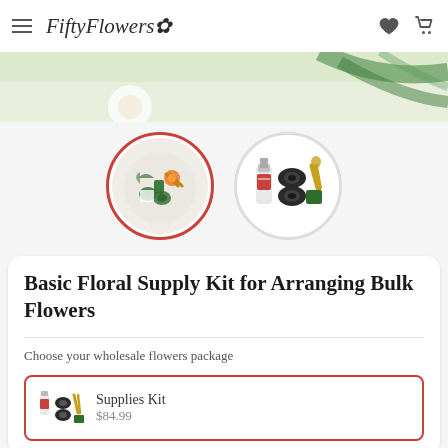FiftyFlowers
[Figure (photo): Hero image showing floral arranging supplies on a white surface with green ribbon/tape and flowers]
[Figure (photo): Two circular thumbnail images: first shows floral supply kit items on a plate with red border, second shows supplies kit items including glue bottle, floral tape rolls, pruners, and foam on white background]
Basic Floral Supply Kit for Arranging Bulk Flowers
Choose your wholesale flowers package
Supplies Kit
$84.99